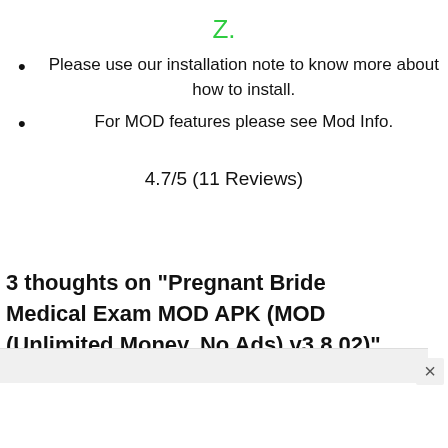Z.
Please use our installation note to know more about how to install.
For MOD features please see Mod Info.
4.7/5 (11 Reviews)
3 thoughts on “Pregnant Bride Medical Exam MOD APK (MOD (Unlimited Money, No Ads) v3.8.02)”